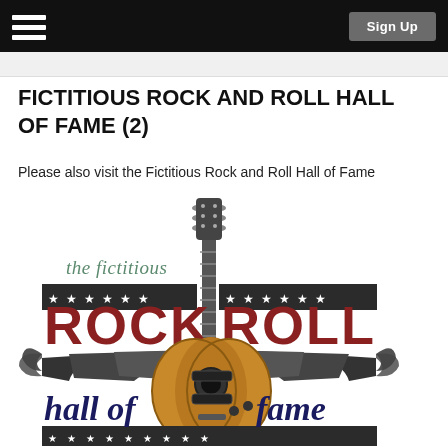Sign Up
FICTITIOUS ROCK AND ROLL HALL OF FAME (2)
Please also visit the Fictitious Rock and Roll Hall of Fame
[Figure (logo): The Fictitious Rock and Roll Hall of Fame logo featuring a guitar, wings, stars, and text reading 'the fictitious ROCK ROLL hall of fame']